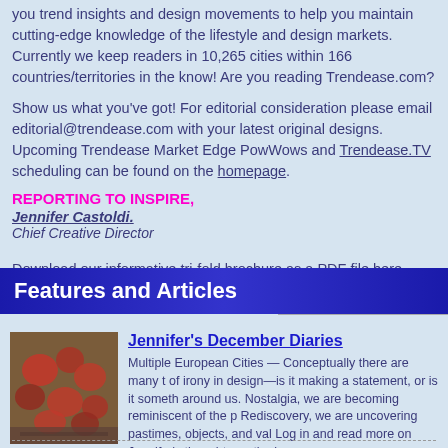you trend insights and design movements to help you maintain cutting-edge knowledge of the lifestyle and design markets. Currently we keep readers in 10,265 cities within 166 countries/territories in the know! Are you reading Trendease.com?
Show us what you've got! For editorial consideration please email editorial@trendease.com with your latest original designs. Upcoming Trendease Market Edge PowWows and Trendease.TV scheduling can be found on the homepage.
REPORTING TO INSPIRE,
Jennifer Castoldi.
Chief Creative Director
Download our informative tri-fold brochure as a PDF file here.
Please send me a sample of Trendease:
Features and Articles
[Figure (photo): Photo of floral patterned fabric or rug with red and brown tones on a display surface]
Jennifer's December Diaries
Multiple European Cities — Conceptually there are many types of irony in design—is it making a statement, or is it something around us. Nostalgia, we are becoming reminiscent of the past. Rediscovery, we are uncovering pastimes, objects, and values. Log in and read more on Jennifer's thoughts on the issue.